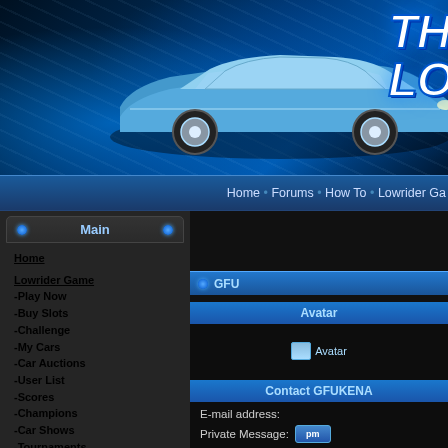[Figure (screenshot): Website banner with blue lowrider car and neon blue light effects, partial logo text 'TH LO' visible top right]
Home • Forums • How To • Lowrider Ga
Home
Lowrider Game
-Play Now
-Buy Slots
-Challenge
-My Cars
-Car Auctions
-User List
-Scores
-Champions
-Car Shows
-Tournaments
-Shops
Lowrider Games:
-Monte Carlo
-Expedition
-3D 57 Chevy
-2-Player Game
-Cadillac Hopper
-Cadillac Dancer
-Cutlass Hopper
-Regal Hopper
| Avatar |
| --- |
| Avatar image |
Contact GFUKENA
E-mail address:
Private Message: PM